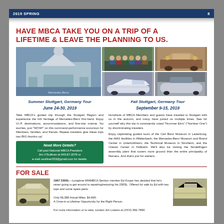2019 SPRING   8
HAVE MBCA TAKE YOU ON A TRIP OF A LIFETIME & LEAVE THE PLANNING TO US.
[Figure (photo): Collage of four photos: Mercedes-Benz building with large silver star sculpture, group of MBCA members posing outdoors, vintage antique Mercedes vehicle, modern white Mercedes sports car]
Summer Stuttgart, Germany Tour June 24-30, 2019
Take MBCA's guided trip through the Stuttgart Region and experience the rich heritage of Mercedes-Benz first-hand. Enjoy V.I.P. destinations, accommodations, and five-star cuisine. No worries, just "WOW!" on this command-performance excursion for Members, families, and friends. Repeat travelers give these trips two BIG thumbs up!
Need More Details?
Call past National MBCA President Jim O'Sullivan at 943-67-2079 or e-mail osullivan553@gmail.com for details.
Fall Stuttgart, Germany Tour September 9-15, 2019
Hundreds of MBCA Members and guests have traveled to Stuttgart with us in the autumn, and many have joined us multiple times. See for yourself why this trip is consistently voted "Nummer Eins" ("Number One") by discriminating travelers.

Enjoy captivating guided tours of the Carl Benz Museum in Ladenburg; the AMG facilities in Affalterbach; the Mercedes-Benz Museum and Brand Center in Untertürkheim; the Technical Museum in Sinsheim; and the Classic Center in Fellbach. We'll also be visiting the Sindelfingen assembly plant that covers more ground than the entire principality of Monaco. And that's just for starters.
FOR SALE
[Figure (photo): Photo of a beige/cream colored 1967 230SL Mercedes-Benz car for sale, left side view]
1967 230SL—Longtime WMMBCA Section member Ed Koops has decided that he's never going to get around to repairing/restoring his 230SL. Offered for sale by Ed with two tops and some spare parts.

Only 56,380 Actual Miles. $4,995.
A Once-in-a-Lifetime Opportunity for the Right Person.

For more information or to view, contact Jim Lukens at (XXX) 456-7890.
[Figure (photo): Photo of the same 1967 230SL Mercedes from a different angle, right side view]